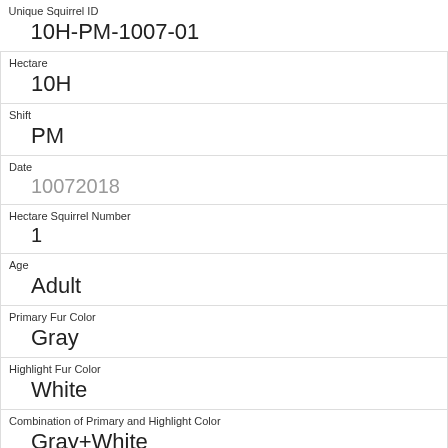| Unique Squirrel ID | 10H-PM-1007-01 |
| Hectare | 10H |
| Shift | PM |
| Date | 10072018 |
| Hectare Squirrel Number | 1 |
| Age | Adult |
| Primary Fur Color | Gray |
| Highlight Fur Color | White |
| Combination of Primary and Highlight Color | Gray+White |
| Color notes | dark gray |
| Location |  |